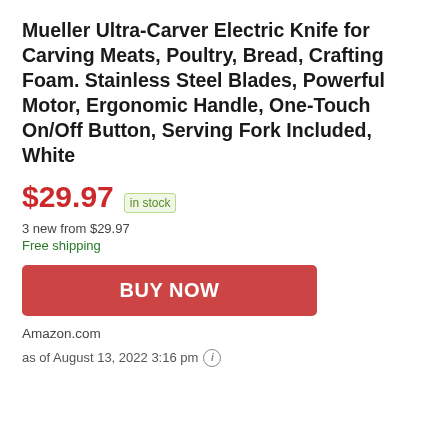Mueller Ultra-Carver Electric Knife for Carving Meats, Poultry, Bread, Crafting Foam. Stainless Steel Blades, Powerful Motor, Ergonomic Handle, One-Touch On/Off Button, Serving Fork Included, White
$29.97 in stock
3 new from $29.97
Free shipping
BUY NOW
Amazon.com
as of August 13, 2022 3:16 pm